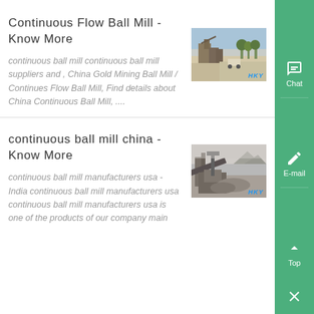Continuous Flow Ball Mill - Know More
[Figure (photo): Outdoor mining site with machinery and gravel area, labeled HKY]
continuous ball mill continuous ball mill suppliers and , China Gold Mining Ball Mill / Continues Flow Ball Mill, Find details about China Continuous Ball Mill, ....
continuous ball mill china - Know More
[Figure (photo): Mining crushing equipment in operation, labeled HKY]
continuous ball mill manufacturers usa - India continuous ball mill manufacturers usa continuous ball mill manufacturers usa is one of the products of our company main